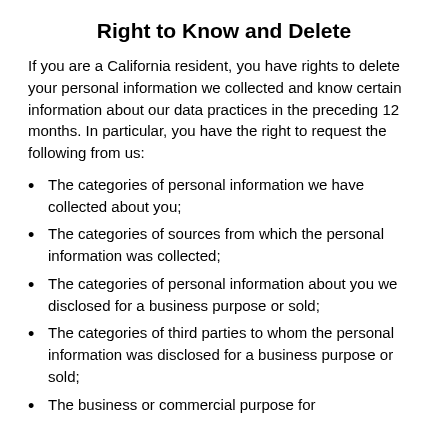Right to Know and Delete
If you are a California resident, you have rights to delete your personal information we collected and know certain information about our data practices in the preceding 12 months. In particular, you have the right to request the following from us:
The categories of personal information we have collected about you;
The categories of sources from which the personal information was collected;
The categories of personal information about you we disclosed for a business purpose or sold;
The categories of third parties to whom the personal information was disclosed for a business purpose or sold;
The business or commercial purpose for